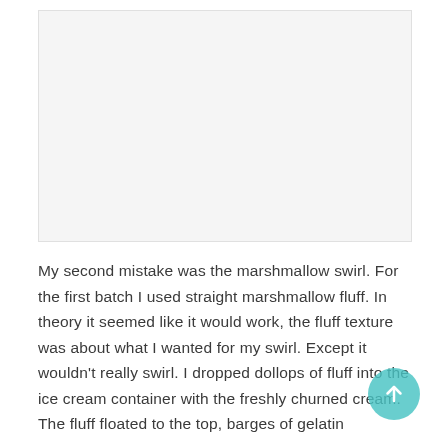[Figure (photo): An image placeholder area at the top of the page, light gray background.]
My second mistake was the marshmallow swirl. For the first batch I used straight marshmallow fluff. In theory it seemed like it would work, the fluff texture was about what I wanted for my swirl. Except it wouldn't really swirl. I dropped dollops of fluff into the ice cream container with the freshly churned cream. The fluff floated to the top, barges of gelatin